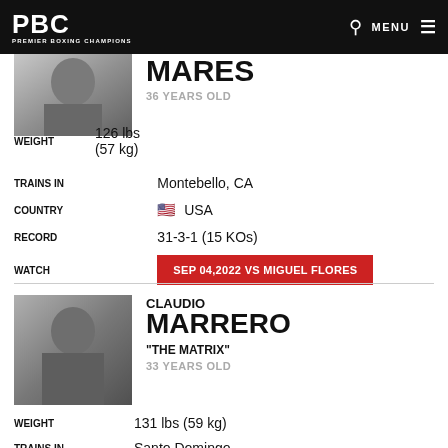PBC PREMIER BOXING CHAMPIONS
MARES
36 YEARS OLD
| Label | Value |
| --- | --- |
| WEIGHT | 126 lbs (57 kg) |
| TRAINS IN | Montebello, CA |
| COUNTRY | USA |
| RECORD | 31-3-1 (15 KOs) |
| WATCH | SEP 04,2022 VS MIGUEL FLORES |
CLAUDIO MARRERO
"THE MATRIX"
33 YEARS OLD
| Label | Value |
| --- | --- |
| WEIGHT | 131 lbs (59 kg) |
| TRAINS IN | Santo Domingo |